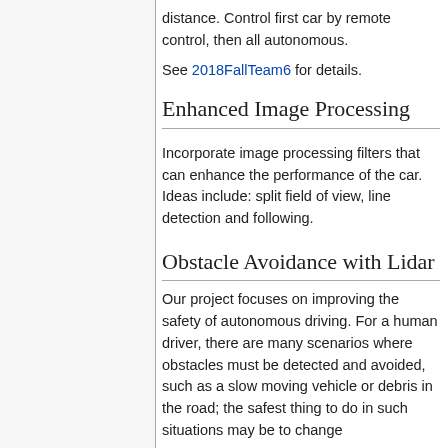distance. Control first car by remote control, then all autonomous.
See 2018FallTeam6 for details.
Enhanced Image Processing
Incorporate image processing filters that can enhance the performance of the car. Ideas include: split field of view, line detection and following.
Obstacle Avoidance with Lidar
Our project focuses on improving the safety of autonomous driving. For a human driver, there are many scenarios where obstacles must be detected and avoided, such as a slow moving vehicle or debris in the road; the safest thing to do in such situations may be to change